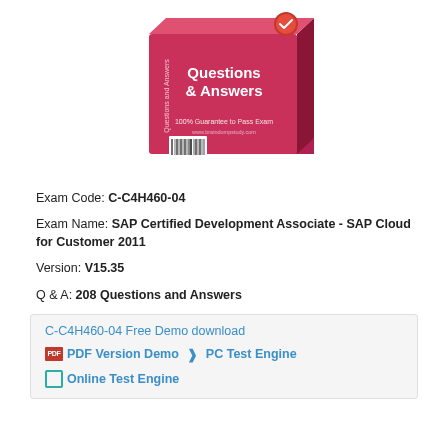[Figure (illustration): A pink/red 3D box product image labeled 'Questions & Answers' with '100% Guarantee to Pass Exam' and a checkmark badge, from testdumpstudy.com]
Exam Code: C-C4H460-04
Exam Name: SAP Certified Development Associate - SAP Cloud for Customer 2011
Version: V15.35
Q & A: 208 Questions and Answers
C-C4H460-04 Free Demo download
PDF Version Demo  ❱  PC Test Engine
❱  Online Test Engine